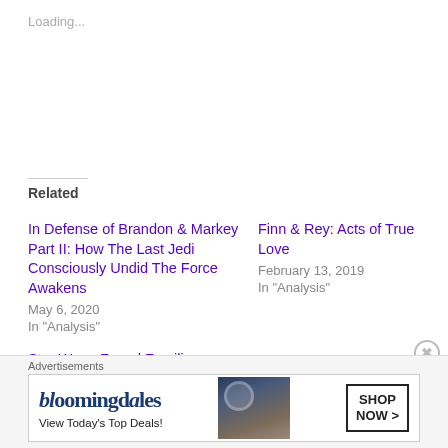Loading...
Related
In Defense of Brandon & Markey Part II: How The Last Jedi Consciously Undid The Force Awakens
May 6, 2020
In "Analysis"
Finn & Rey: Acts of True Love
February 13, 2019
In "Analysis"
Star Wars: Found Families, Bloodline, and Arthurian Legend
January 2, 2019
In "Analysis"
Advertisements
[Figure (other): Bloomingdale's advertisement banner showing logo, 'View Today's Top Deals!' text, a woman with a large hat, and a 'SHOP NOW >' button]